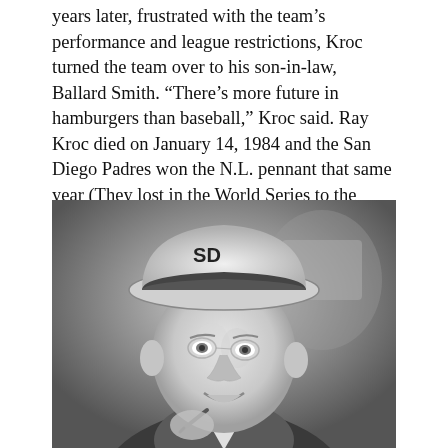years later, frustrated with the team's performance and league restrictions, Kroc turned the team over to his son-in-law, Ballard Smith. “There’s more future in hamburgers than baseball,” Kroc said. Ray Kroc died on January 14, 1984 and the San Diego Padres won the N.L. pennant that same year (They lost in the World Series to the Detroit Tiger 4 games to 1).
[Figure (photo): Black and white photograph of an elderly man wearing a San Diego Padres (SD) baseball cap and a plaid shirt, smiling and holding what appears to be a pen or pencil. The photo is taken indoors with a blurred background.]